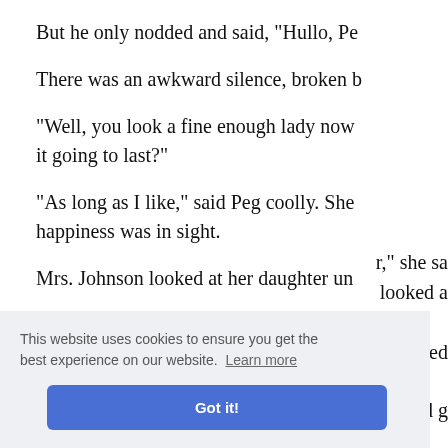But he only nodded and said, "Hullo, Pe
There was an awkward silence, broken b
"Well, you look a fine enough lady now it going to last?"
"As long as I like," said Peg coolly. She happiness was in sight.
Mrs. Johnson looked at her daughter un
r," she sa
looked a
he asked
changed g
This website uses cookies to ensure you get the best experience on our website. Learn more
Got it!